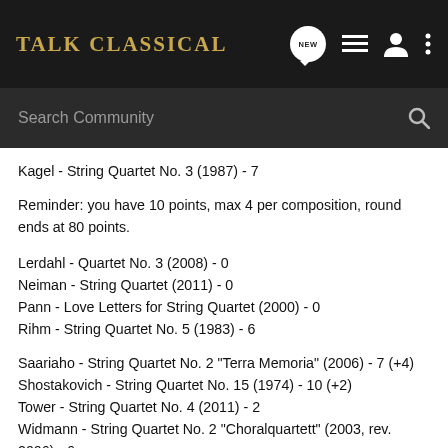TALK CLASSICAL
Kagel - String Quartet No. 3 (1987) - 7
Reminder: you have 10 points, max 4 per composition, round ends at 80 points.
Lerdahl - Quartet No. 3 (2008) - 0
Neiman - String Quartet (2011) - 0
Pann - Love Letters for String Quartet (2000) - 0
Rihm - String Quartet No. 5 (1983) - 6
Saariaho - String Quartet No. 2 "Terra Memoria" (2006) - 7 (+4)
Shostakovich - String Quartet No. 15 (1974) - 10 (+2)
Tower - String Quartet No. 4 (2011) - 2
Widmann - String Quartet No. 2 "Choralquartett" (2003, rev. 2006) - 6